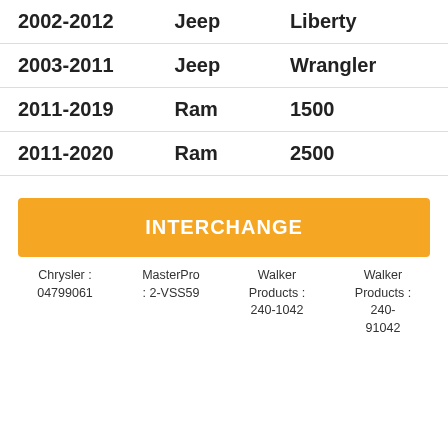| Years | Make | Model |
| --- | --- | --- |
| 2002-2012 | Jeep | Liberty |
| 2003-2011 | Jeep | Wrangler |
| 2011-2019 | Ram | 1500 |
| 2011-2020 | Ram | 2500 |
INTERCHANGE
Chrysler : 04799061     MasterPro : 2-VSS59     Walker Products : 240-1042     Walker Products : 240-91042